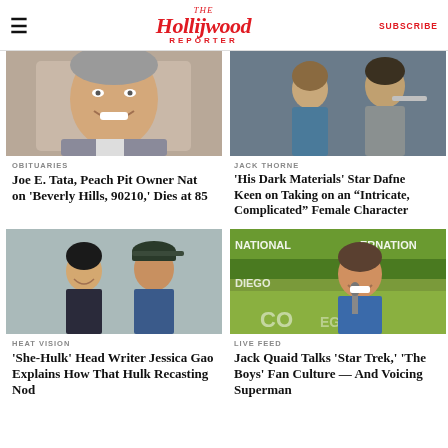The Hollywood Reporter | SUBSCRIBE
[Figure (photo): Smiling older man with grey hair in a suit, entertainment industry figure]
OBITUARIES
Joe E. Tata, Peach Pit Owner Nat on 'Beverly Hills, 90210,' Dies at 85
[Figure (photo): Two young actors from His Dark Materials, a girl in a blue dress and a boy in grey hoodie]
JACK THORNE
'His Dark Materials' Star Dafne Keen on Taking on an "Intricate, Complicated" Female Character
[Figure (photo): Two people posing together: an Asian woman and a man in a blue blazer and black cap]
HEAT VISION
'She-Hulk' Head Writer Jessica Gao Explains How That Hulk Recasting Nod
[Figure (photo): Young man smiling at Comic-Con microphone, wearing blue shirt]
LIVE FEED
Jack Quaid Talks 'Star Trek,' 'The Boys' Fan Culture — And Voicing Superman